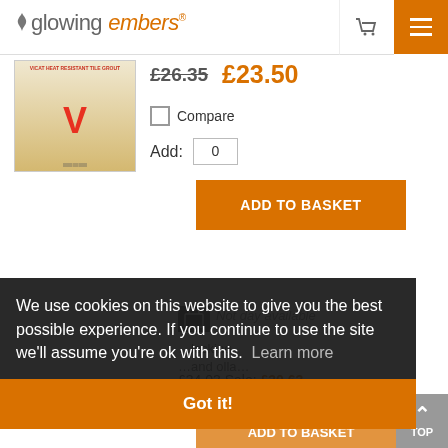glowing embers
£26.35  £23.50
Compare
Add: 0
ADD TO BASKET
Not day available
£34.03 Sale: £30.63
Compare
ADD TO BASKET
We use cookies on this website to give you the best possible experience. If you continue to use the site we'll assume you're ok with this.  Learn more
Got it!